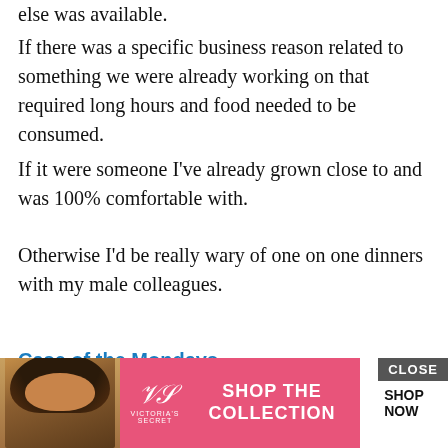else was available.
If there was a specific business reason related to something we were already working on that required long hours and food needed to be consumed.
If it were someone I've already grown close to and was 100% comfortable with.
Otherwise I'd be really wary of one on one dinners with my male colleagues.
Case of the Mondays
November 24, 2015 at 1:52 pm
It makes me nervous but I realize I need to get over that to get ahead. I'm an attorney and business d... by h... people
[Figure (screenshot): Victoria's Secret advertisement overlay with pink background, model photo, VS logo, 'SHOP THE COLLECTION' text, 'SHOP NOW' button, and 'CLOSE' button]